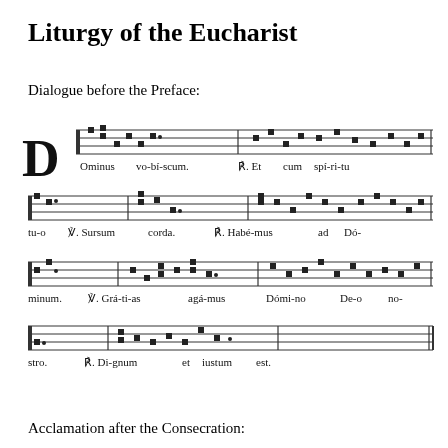Liturgy of the Eucharist
Dialogue before the Preface:
[Figure (illustration): Gregorian chant notation (square neumes on four-line staff) for the Eucharistic Dialogue: 'Dominus vobiscum. R. Et cum spiritu tuo. V. Sursum corda. R. Habemus ad Dominum. V. Gratias agamus Domino Deo nostro. R. Dignum et iustum est.']
Acclamation after the Consecration: